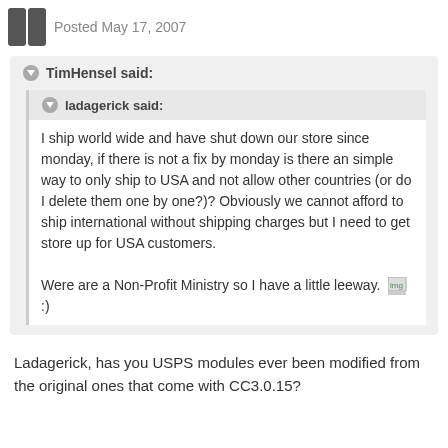Posted May 17, 2007
TimHensel said:
ladagerick said:
I ship world wide and have shut down our store since monday, if there is not a fix by monday is there an simple way to only ship to USA and not allow other countries (or do I delete them one by one?)? Obviously we cannot afford to ship international without shipping charges but I need to get store up for USA customers.

Were are a Non-Profit Ministry so I have a little leeway. :)
Ladagerick, has you USPS modules ever been modified from the original ones that come with CC3.0.15?